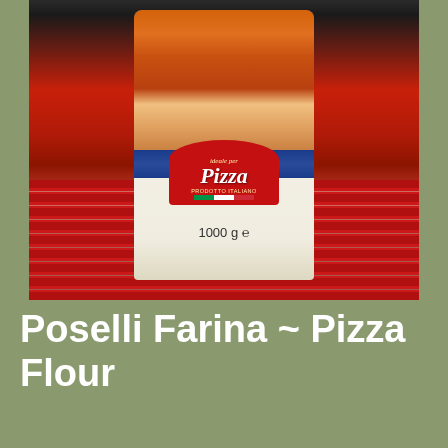[Figure (photo): A bag of Poselli Pizza Flour (Farina per Pizza, 1000g) with 'ideale per Pizza' and 'PRODOTTO ITALIANO' labels, placed on a red striped cloth against a dark background.]
Poselli Farina ~ Pizza Flour
Di grano tenero tipo ‘00”: soft wheat flour type ‘00”